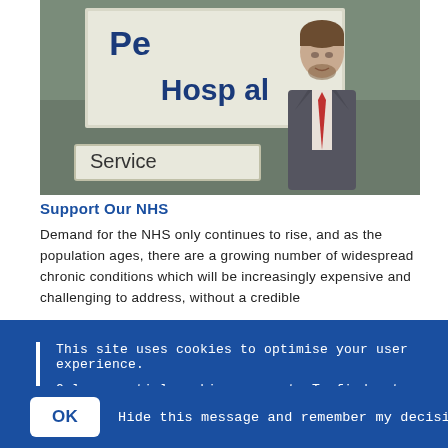[Figure (photo): A man in a suit standing in front of a hospital sign reading 'Hospital' and 'Service'. The sign has dark blue text on a light background.]
Support Our NHS
Demand for the NHS only continues to rise, and as the population ages, there are a growing number of widespread chronic conditions which will be increasingly expensive and challenging to address, without a credible
This site uses cookies to optimise your user experience.
Only essential cookies are set. To find out more, including how to opt out, please visit the Cookies page.
OK   Hide this message and remember my decision